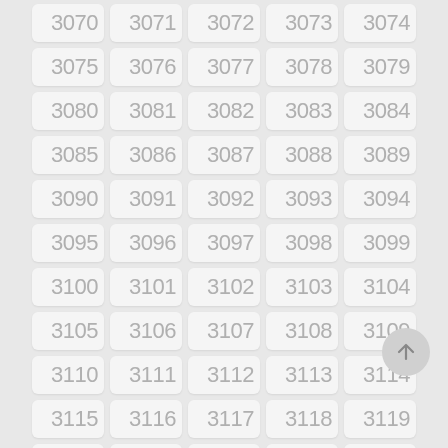[Figure (other): Grid of numbered cells from 3070 to 3124, arranged in 5 columns and 11 rows, each cell showing a light gray number on a white rounded-corner tile background. A circular floating action button with an upward arrow is visible in the lower right area.]